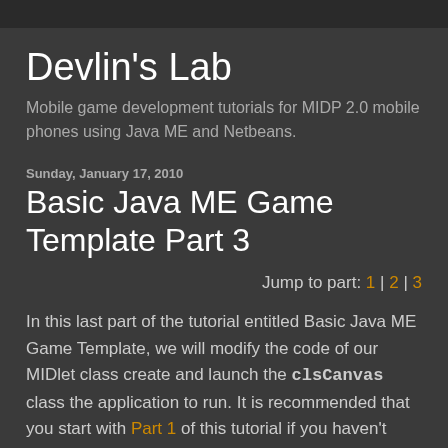Devlin's Lab
Mobile game development tutorials for MIDP 2.0 mobile phones using Java ME and Netbeans.
Sunday, January 17, 2010
Basic Java ME Game Template Part 3
Jump to part: 1 | 2 | 3
In this last part of the tutorial entitled Basic Java ME Game Template, we will modify the code of our MIDlet class create and launch the clsCanvas class the application to run. It is recommended that you start with Part 1 of this tutorial if you haven't done so.